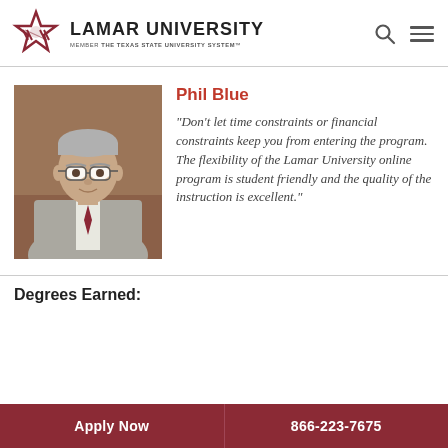LAMAR UNIVERSITY — MEMBER THE TEXAS STATE UNIVERSITY SYSTEM
Phil Blue
[Figure (photo): Headshot of Phil Blue, a middle-aged man wearing glasses and a suit jacket]
"Don't let time constraints or financial constraints keep you from entering the program. The flexibility of the Lamar University online program is student friendly and the quality of the instruction is excellent."
Degrees Earned:
Apply Now   866-223-7675